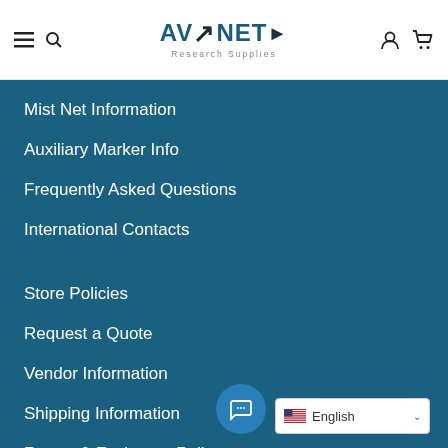AVINET Research Supplies — navigation header with hamburger, search, user and cart icons
Mist Net Information
Auxiliary Marker Info
Frequently Asked Questions
International Contacts
Store Policies
Request a Quote
Vendor Information
Shipping Information
Return & Exchange Policy
English (language selector)